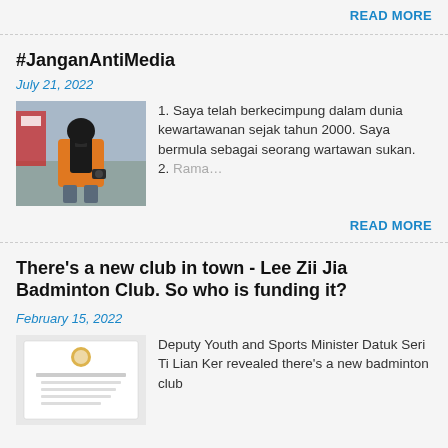READ MORE
#JanganAntiMedia
July 21, 2022
[Figure (photo): A person from behind wearing an orange vest and a black backpack with camera equipment, at an outdoor event.]
1. Saya telah berkecimpung dalam dunia kewartawanan sejak tahun 2000. Saya bermula sebagai seorang wartawan sukan.  2. Rama…
READ MORE
There's a new club in town - Lee Zii Jia Badminton Club. So who is funding it?
February 15, 2022
[Figure (photo): A document or letter with an official letterhead/logo at the top.]
Deputy Youth and Sports Minister Datuk Seri Ti Lian Ker revealed there's a new badminton club